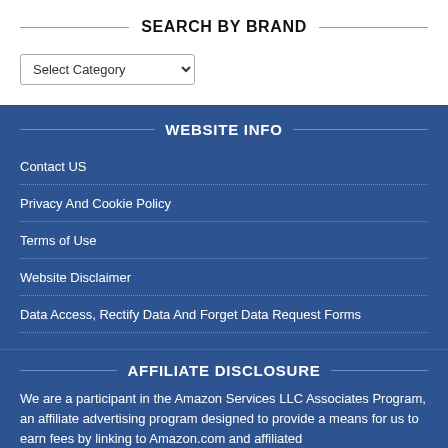SEARCH BY BRAND
Select Category (dropdown)
WEBSITE INFO
Contact US
Privacy And Cookie Policy
Terms of Use
Website Disclaimer
Data Access, Rectify Data And Forget Data Request Forms
AFFILIATE DISCLOSURE
We are a participant in the Amazon Services LLC Associates Program, an affiliate advertising program designed to provide a means for us to earn fees by linking to Amazon.com and affiliated